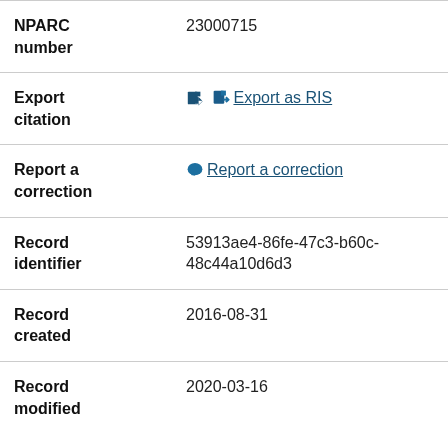| Field | Value |
| --- | --- |
| NPARC number | 23000715 |
| Export citation | Export as RIS |
| Report a correction | Report a correction |
| Record identifier | 53913ae4-86fe-47c3-b60c-48c44a10d6d3 |
| Record created | 2016-08-31 |
| Record modified | 2020-03-16 |